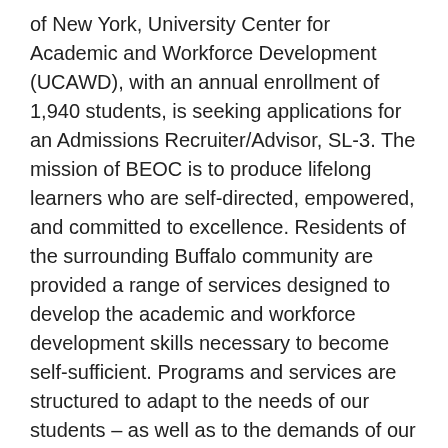of New York, University Center for Academic and Workforce Development (UCAWD), with an annual enrollment of 1,940 students, is seeking applications for an Admissions Recruiter/Advisor, SL-3. The mission of BEOC is to produce lifelong learners who are self-directed, empowered, and committed to excellence. Residents of the surrounding Buffalo community are provided a range of services designed to develop the academic and workforce development skills necessary to become self-sufficient. Programs and services are structured to adapt to the needs of our students – as well as to the demands of our community – and serve as first steps toward the attainment of long-term educational and employment skills.
Outstanding Benefits Package
Working at UB comes with benefits that exceed salary